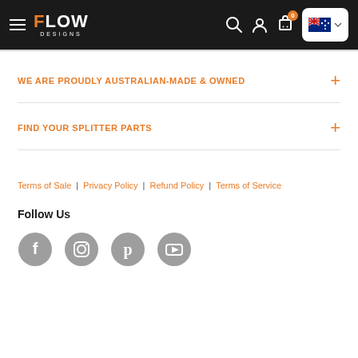Flow Designs – Navigation header with logo, search, account, cart (0 items), and Australia country selector
WE ARE PROUDLY AUSTRALIAN-MADE & OWNED
FIND YOUR SPLITTER PARTS
Terms of Sale | Privacy Policy | Refund Policy | Terms of Service
Follow Us
[Figure (illustration): Social media icons: Facebook, Instagram, Pinterest, YouTube – grey circle icons]